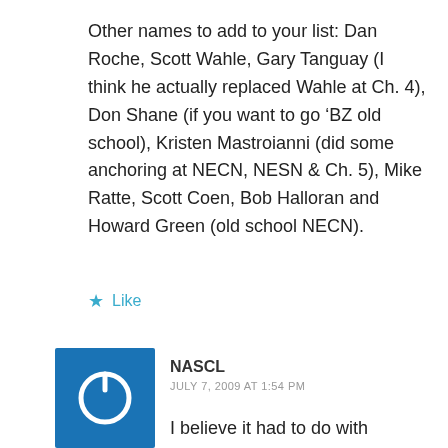Other names to add to your list: Dan Roche, Scott Wahle, Gary Tanguay (I think he actually replaced Wahle at Ch. 4), Don Shane (if you want to go ‘BZ old school), Kristen Mastroianni (did some anchoring at NECN, NESN & Ch. 5), Mike Ratte, Scott Coen, Bob Halloran and Howard Green (old school NECN).
Like
[Figure (other): Blue square avatar icon with a power/user symbol in white]
NASCL
JULY 7, 2009 AT 1:54 PM
I believe it had to do with METCO-